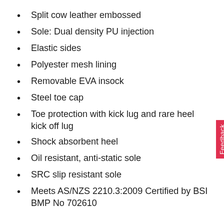Split cow leather embossed
Sole: Dual density PU injection
Elastic sides
Polyester mesh lining
Removable EVA insock
Steel toe cap
Toe protection with kick lug and rare heel kick off lug
Shock absorbent heel
Oil resistant, anti-static sole
SRC slip resistant sole
Meets AS/NZS 2210.3:2009 Certified by BSI BMP No 702610